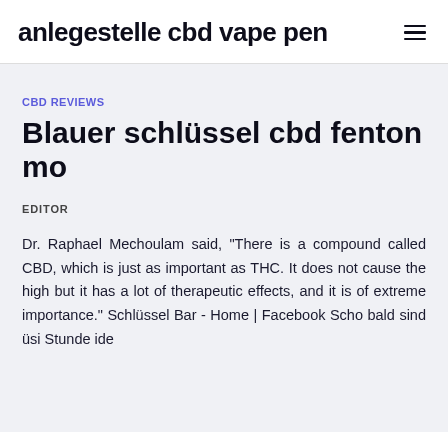anlegestelle cbd vape pen
CBD REVIEWS
Blauer schlüssel cbd fenton mo
EDITOR
Dr. Raphael Mechoulam said, "There is a compound called CBD, which is just as important as THC. It does not cause the high but it has a lot of therapeutic effects, and it is of extreme importance." Schlüssel Bar - Home | Facebook Scho bald sind üsi Stunde ide